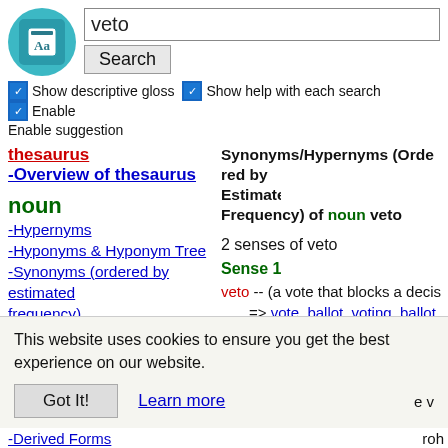[Figure (logo): Teal circular logo with dictionary/book icon containing 'Aa']
veto
Search
Show descriptive gloss  Show help with each search  Enable suggestion
thesaurus
-Overview of thesaurus
noun
-Hypernyms
-Hyponyms & Hyponym Tree
-Synonyms (ordered by estimated frequency)
-Derived Forms
-Familiarity & Polysemy Count
-Coordinate Terms (sisters)
-List of Compound Words
-Overview of Senses
verb
Synonyms/Hypernyms (Ordered by Estimated Frequency) of noun veto
2 senses of veto
Sense 1
veto -- (a vote that blocks a deci... => vote, ballot, voting, ballot... made by counting the number of... alternatives; "there were only 17 v...
This website uses cookies to ensure you get the best experience on our website.
Got It!
Learn more
-Derived Forms